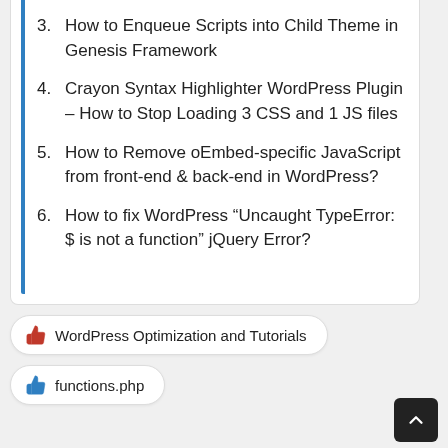3. How to Enqueue Scripts into Child Theme in Genesis Framework
4. Crayon Syntax Highlighter WordPress Plugin – How to Stop Loading 3 CSS and 1 JS files
5. How to Remove oEmbed-specific JavaScript from front-end & back-end in WordPress?
6. How to fix WordPress “Uncaught TypeError: $ is not a function” jQuery Error?
WordPress Optimization and Tutorials
functions.php